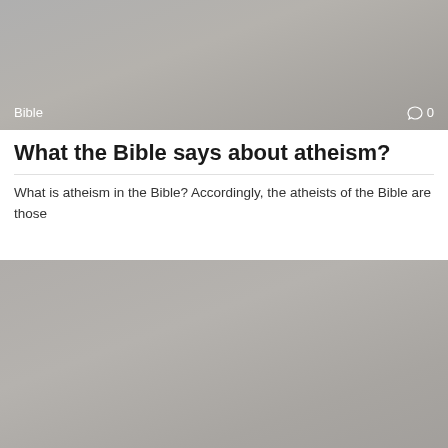[Figure (photo): Grey placeholder image with 'Bible' label and comment icon showing 0 comments]
What the Bible says about atheism?
What is atheism in the Bible? Accordingly, the atheists of the Bible are those
[Figure (photo): Grey placeholder image with 'Bible' label and comment icon showing 0 comments]
Does the Episcopal Church recognize Mary?
After nearly 500 years of intense division, Anglican and Roman Catholic theologians yesterday declared